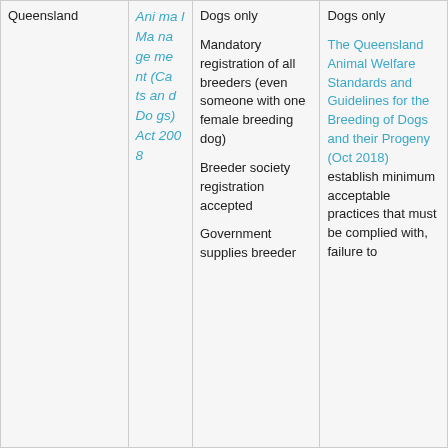| State | Legislation | Dogs/Cats | Notes |
| --- | --- | --- | --- |
| Queensland | Animal Management (Cats and Dogs) Act 2008 | Dogs only

Mandatory registration of all breeders (even someone with one female breeding dog)

Breeder society registration accepted

Government supplies breeder | Dogs only

The Queensland Animal Welfare Standards and Guidelines for the Breeding of Dogs and their Progeny (Oct 2018) establish minimum acceptable practices that must be complied with, failure to |